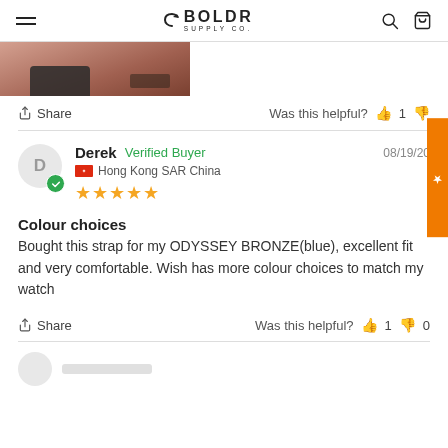BOLDR SUPPLY CO.
[Figure (photo): Partial close-up photo of a watch strap on a wrist]
Share   Was this helpful?  👍 1
Derek  Verified Buyer   08/19/20
🇭🇰 Hong Kong SAR China
★★★★★
Colour choices
Bought this strap for my ODYSSEY BRONZE(blue), excellent fit and very comfortable. Wish has more colour choices to match my watch
Share   Was this helpful?  👍 1  👎 0